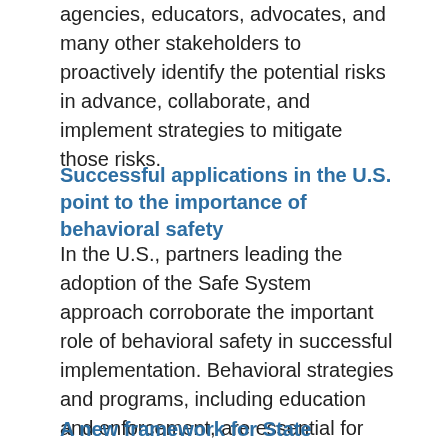agencies, educators, advocates, and many other stakeholders to proactively identify the potential risks in advance, collaborate, and implement strategies to mitigate those risks.
Successful applications in the U.S. point to the importance of behavioral safety
In the U.S., partners leading the adoption of the Safe System approach corroborate the important role of behavioral safety in successful implementation. Behavioral strategies and programs, including education and enforcement, are essential for encouraging more responsible road use and are an equally vital part of reducing fatalities and serious injuries.
A new framework for State Highway Safety Offices